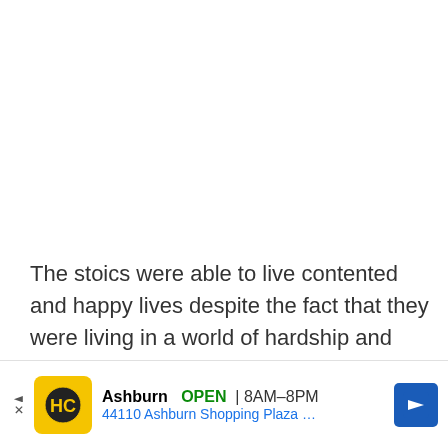The stoics were able to live contented and happy lives despite the fact that they were living in a world of hardship and torture. They had managed to build themselves up to be strong and confident adults who knew how to live their own lives without being bogged down by external pressures or expectations
[Figure (other): Advertisement banner for HC (Hitters Connection or similar) showing store in Ashburn, OPEN 8AM-8PM, 44110 Ashburn Shopping Plaza, with yellow logo icon and blue navigation arrow]